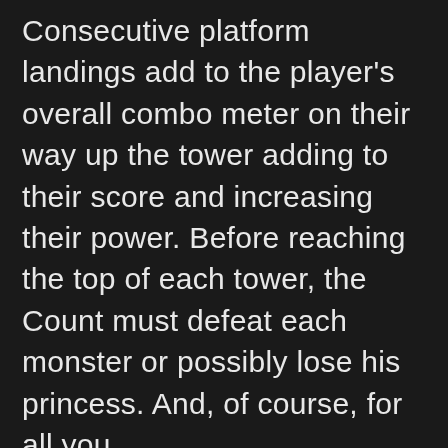Consecutive platform landings add to the player's overall combo meter on their way up the tower adding to their score and increasing their power. Before reaching the top of each tower, the Count must defeat each monster or possibly lose his princess. And, of course, for all you medal/trophy/achievement fans out there, this one has quite the list of unlockables, which will have you challenging your high scores over and